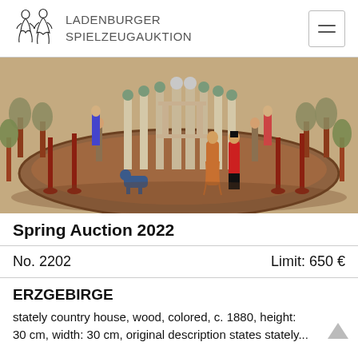LADENBURGER SPIELZEUGAUKTION
[Figure (photo): Antique wooden Erzgebirge toy country house set with painted figurines, trees, fence posts, and animals arranged in a circular wooden base, c. 1880]
Spring Auction 2022
No. 2202	Limit: 650 €
ERZGEBIRGE
stately country house, wood, colored, c. 1880, height: 30 cm, width: 30 cm, original description states stately...